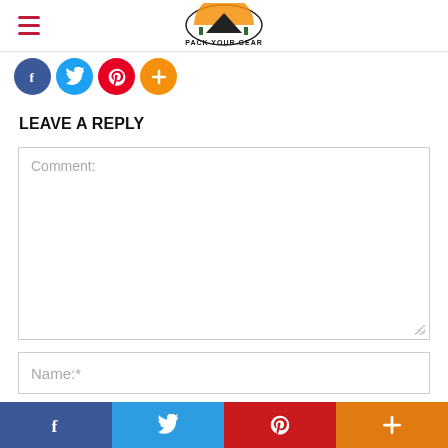Pack Your Gear
[Figure (illustration): Social share icons row: Facebook (blue circle), Twitter (light blue circle), Pinterest (red circle), Add/More (orange circle)]
LEAVE A REPLY
[Figure (screenshot): Comment text area input field with placeholder text 'Comment:']
[Figure (screenshot): Name input field with placeholder text 'Name:*']
[Figure (screenshot): Email input field (partially visible) with placeholder text 'Email:']
[Figure (illustration): Bottom social sharing bar with four buttons: Facebook (dark blue), Twitter (medium blue), Pinterest (red), Add/More (orange), each with white icons]